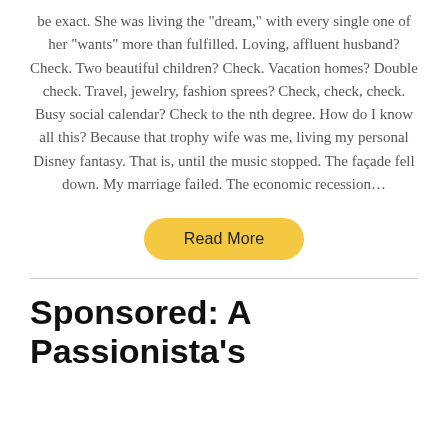be exact. She was living the "dream," with every single one of her "wants" more than fulfilled. Loving, affluent husband? Check. Two beautiful children? Check. Vacation homes? Double check. Travel, jewelry, fashion sprees? Check, check, check. Busy social calendar? Check to the nth degree. How do I know all this? Because that trophy wife was me, living my personal Disney fantasy. That is, until the music stopped. The façade fell down. My marriage failed. The economic recession…
Read More
Sponsored: A Passionista's